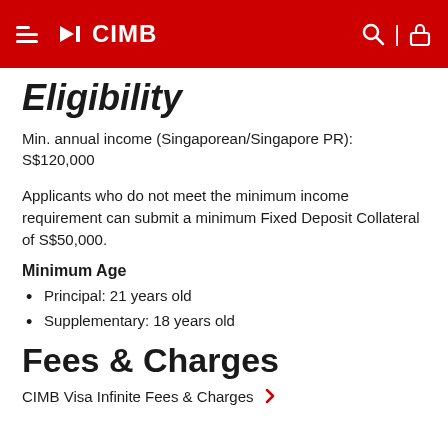CIMB
Eligibility
Min. annual income (Singaporean/Singapore PR): S$120,000
Applicants who do not meet the minimum income requirement can submit a minimum Fixed Deposit Collateral of S$50,000.
Minimum Age
Principal: 21 years old
Supplementary: 18 years old
Fees & Charges
CIMB Visa Infinite Fees & Charges